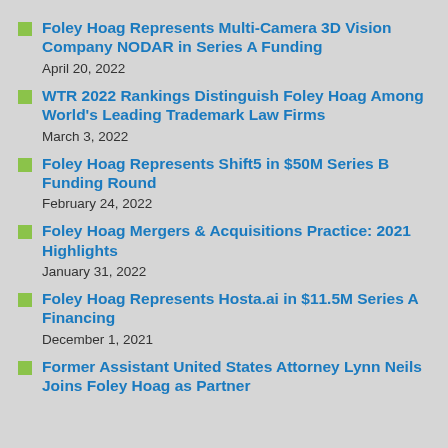Foley Hoag Represents Multi-Camera 3D Vision Company NODAR in Series A Funding
April 20, 2022
WTR 2022 Rankings Distinguish Foley Hoag Among World's Leading Trademark Law Firms
March 3, 2022
Foley Hoag Represents Shift5 in $50M Series B Funding Round
February 24, 2022
Foley Hoag Mergers & Acquisitions Practice: 2021 Highlights
January 31, 2022
Foley Hoag Represents Hosta.ai in $11.5M Series A Financing
December 1, 2021
Former Assistant United States Attorney Lynn Neils Joins Foley Hoag as Partner